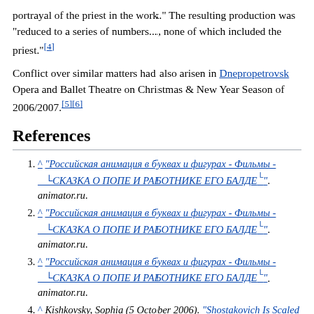portrayal of the priest in the work." The resulting production was "reduced to a series of numbers..., none of which included the priest."[4]
Conflict over similar matters had also arisen in Dnepropetrovsk Opera and Ballet Theatre on Christmas & New Year Season of 2006/2007.[5][6]
References
^ "Российская анимация в буквах и фигурах - Фильмы - СКАЗКА О ПОПЕ И РАБОТНИКЕ ЕГО БАЛДЕ". animator.ru.
^ "Российская анимация в буквах и фигурах - Фильмы - СКАЗКА О ПОПЕ И РАБОТНИКЕ ЕГО БАЛДЕ". animator.ru.
^ "Российская анимация в буквах и фигурах - Фильмы - СКАЗКА О ПОПЕ И РАБОТНИКЕ ЕГО БАЛДЕ". animator.ru.
^ Kishkovsky, Sophia (5 October 2006). "Shostakovich Is Scaled Down After Protests From Church" – via select.nytimes.com.
^ "Archived copy". Archived from the original on 2007-09-27. Retrieved 2007-09-27.((cite web)): CS1 maint: